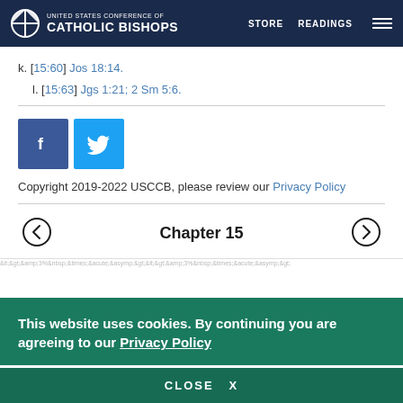UNITED STATES CONFERENCE OF CATHOLIC BISHOPS | STORE | READINGS
k. [15:60] Jos 18:14.
l. [15:63] Jgs 1:21; 2 Sm 5:6.
[Figure (logo): Facebook and Twitter social share buttons]
Copyright 2019-2022 USCCB, please review our Privacy Policy
Chapter 15
This website uses cookies. By continuing you are agreeing to our Privacy Policy
CLOSE X